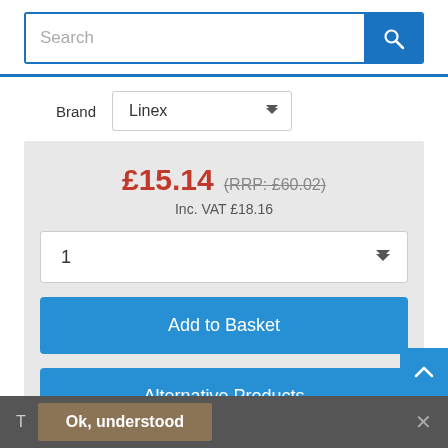[Figure (screenshot): Search bar with text input placeholder 'Search' and a blue search button with magnifying glass icon]
Brand   Linex
£15.14 (RRP: £60.02)
Inc. VAT £18.16
1
Add to Basket
Alternative Products
T   Ok, understood   ×